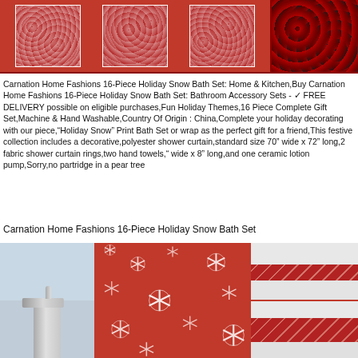[Figure (photo): Top portion of a red holiday gift box containing bath accessories with snowflake patterns]
Carnation Home Fashions 16-Piece Holiday Snow Bath Set: Home & Kitchen,Buy Carnation Home Fashions 16-Piece Holiday Snow Bath Set: Bathroom Accessory Sets - ✓ FREE DELIVERY possible on eligible purchases,Fun Holiday Themes,16 Piece Complete Gift Set,Machine & Hand Washable,Country Of Origin : China,Complete your holiday decorating with our piece,"Holiday Snow" Print Bath Set or wrap as the perfect gift for a friend,This festive collection includes a decorative,polyester shower curtain,standard size 70" wide x 72" long,2 fabric shower curtain rings,two hand towels," wide x 8" long,and one ceramic lotion pump,Sorry,no partridge in a pear tree
Carnation Home Fashions 16-Piece Holiday Snow Bath Set
[Figure (photo): Open red gift box showing a red snowflake-print shower curtain, white towels with red accent strips, and a silver ceramic lotion pump]